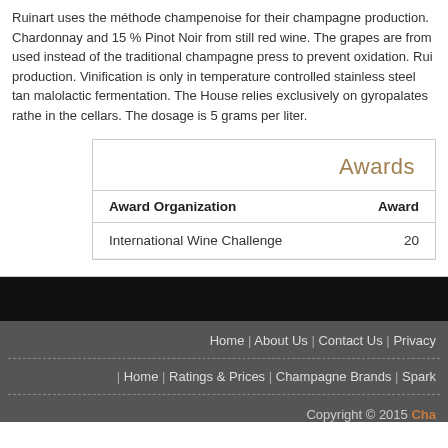Ruinart uses the méthode champenoise for their champagne production. Chardonnay and 15 % Pinot Noir from still red wine. The grapes are from used instead of the traditional champagne press to prevent oxidation. Rui production. Vinification is only in temperature controlled stainless steel tan malolactic fermentation. The House relies exclusively on gyropalates rathe in the cellars. The dosage is 5 grams per liter.
| Award Organization | Award |
| --- | --- |
| International Wine Challenge | 20 |
Home | About Us | Contact Us | Privacy
| Home | Ratings & Prices | Champagne Brands | Spark
Copyright © 2015 Cha